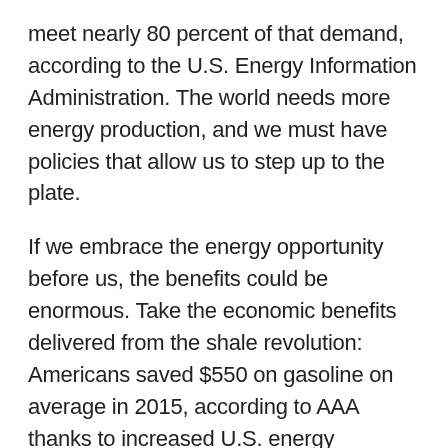meet nearly 80 percent of that demand, according to the U.S. Energy Information Administration. The world needs more energy production, and we must have policies that allow us to step up to the plate.
If we embrace the energy opportunity before us, the benefits could be enormous. Take the economic benefits delivered from the shale revolution: Americans saved $550 on gasoline on average in 2015, according to AAA thanks to increased U.S. energy production. The National Association of Manufacturers reported that the average American household is saving more than $1,337 per year thanks to lower energy costs.
Our manufacturing sector has benefited as well. Lower natural-gas prices, in particular, are spurring